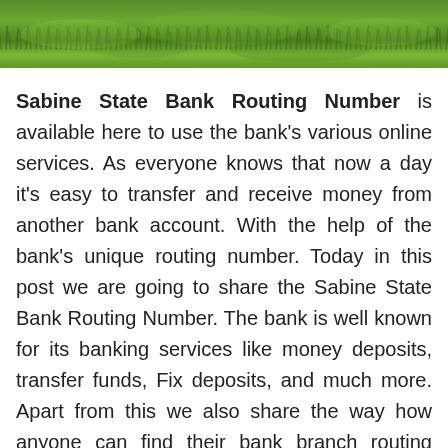[Figure (photo): A green grass field photo banner at the top of the page]
Sabine State Bank Routing Number is available here to use the bank's various online services. As everyone knows that now a day it's easy to transfer and receive money from another bank account. With the help of the bank's unique routing number. Today in this post we are going to share the Sabine State Bank Routing Number. The bank is well known for its banking services like money deposits, transfer funds, Fix deposits, and much more. Apart from this we also share the way how anyone can find their bank branch routing number easily.